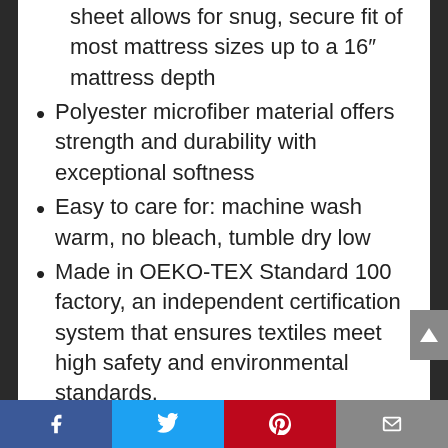sheet allows for snug, secure fit of most mattress sizes up to a 16″ mattress depth
Polyester microfiber material offers strength and durability with exceptional softness
Easy to care for: machine wash warm, no bleach, tumble dry low
Made in OEKO-TEX Standard 100 factory, an independent certification system that ensures textiles meet high safety and environmental standards.